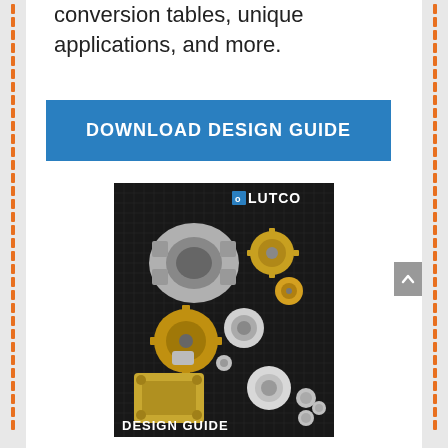conversion tables, unique applications, and more.
[Figure (other): Blue button with white text reading DOWNLOAD DESIGN GUIDE]
[Figure (photo): LUTCO Design Guide catalog cover showing various mechanical parts including gears, bearings, sprockets, and housings arranged on a dark grid background with LUTCO logo and DESIGN GUIDE label]